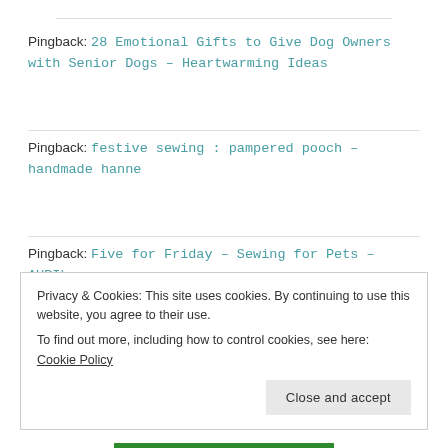Pingback: 28 Emotional Gifts to Give Dog Owners with Senior Dogs – Heartwarming Ideas
Pingback: festive sewing : pampered pooch – handmade hanne
Pingback: Five for Friday – Sewing for Pets – AURIbuzz
Privacy & Cookies: This site uses cookies. By continuing to use this website, you agree to their use.
To find out more, including how to control cookies, see here: Cookie Policy